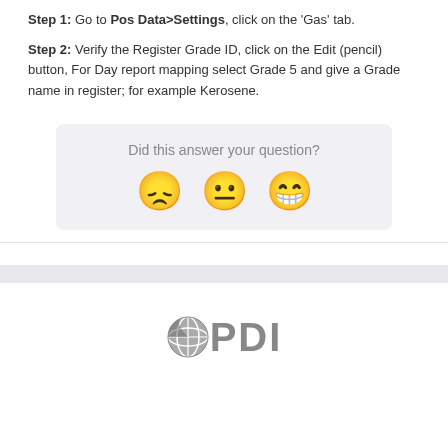Step 1: Go to Pos Data>Settings, click on the 'Gas' tab.
Step 2: Verify the Register Grade ID, click on the Edit (pencil) button, For Day report mapping select Grade 5 and give a Grade name in register; for example Kerosene.
Did this answer your question?
[Figure (illustration): Three emoji faces for feedback: sad face, neutral face, and happy face with big smile]
[Figure (logo): PDI logo with globe icon and PDI text in gray]